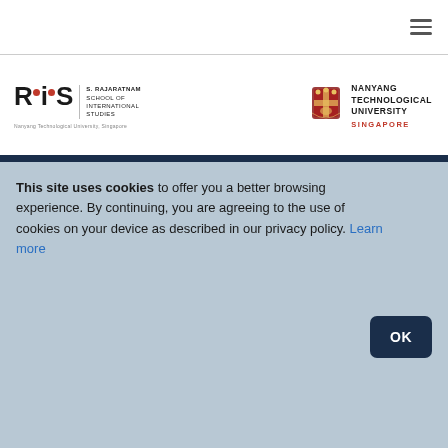[Figure (logo): RSIS S. Rajaratnam School of International Studies, Nanyang Technological University, Singapore logo on left; NTU crest and wordmark on right]
This site uses cookies to offer you a better browsing experience. By continuing, you are agreeing to the use of cookies on your device as described in our privacy policy. Learn more
OK